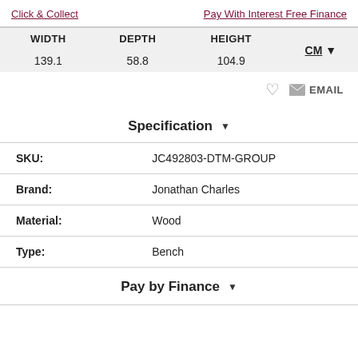Click & Collect    Pay With Interest Free Finance
| WIDTH | DEPTH | HEIGHT | CM |
| --- | --- | --- | --- |
| 139.1 | 58.8 | 104.9 |  |
Specification
| Field | Value |
| --- | --- |
| SKU: | JC492803-DTM-GROUP |
| Brand: | Jonathan Charles |
| Material: | Wood |
| Type: | Bench |
Pay by Finance